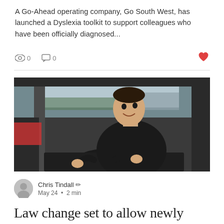A Go-Ahead operating company, Go South West, has launched a Dyslexia toolkit to support colleagues who have been officially diagnosed...
[Figure (photo): Young man smiling while sitting in the driver's seat of a bus or large vehicle, wearing a dark jacket, turning toward camera]
Chris Tindall · May 24 · 2 min
Law change set to allow newly